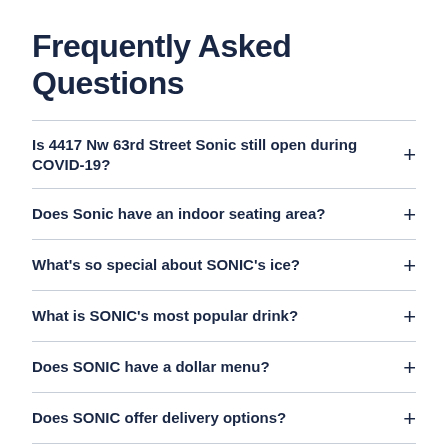Frequently Asked Questions
Is 4417 Nw 63rd Street Sonic still open during COVID-19?
Does Sonic have an indoor seating area?
What's so special about SONIC's ice?
What is SONIC's most popular drink?
Does SONIC have a dollar menu?
Does SONIC offer delivery options?